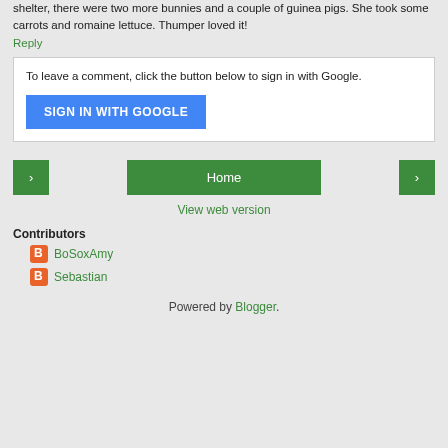shelter, there were two more bunnies and a couple of guinea pigs. She took some carrots and romaine lettuce. Thumper loved it!
Reply
To leave a comment, click the button below to sign in with Google.
SIGN IN WITH GOOGLE
Home
View web version
Contributors
BoSoxAmy
Sebastian
Powered by Blogger.